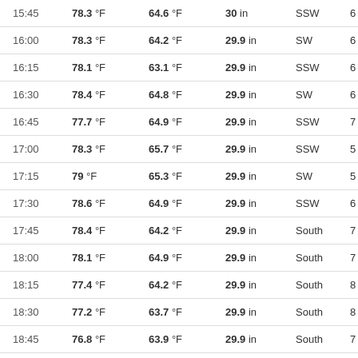| Time | Temp | Dew Point | Pressure | Wind Dir | Wind Speed |
| --- | --- | --- | --- | --- | --- |
| 15:45 | 78.3 °F | 64.6 °F | 30 in | SSW | 6 mp |
| 16:00 | 78.3 °F | 64.2 °F | 29.9 in | SW | 6 mp |
| 16:15 | 78.1 °F | 63.1 °F | 29.9 in | SSW | 6 mp |
| 16:30 | 78.4 °F | 64.8 °F | 29.9 in | SW | 6 mp |
| 16:45 | 77.7 °F | 64.9 °F | 29.9 in | SSW | 7 mp |
| 17:00 | 78.3 °F | 65.7 °F | 29.9 in | SSW | 5 mp |
| 17:15 | 79 °F | 65.3 °F | 29.9 in | SW | 5 mp |
| 17:30 | 78.6 °F | 64.9 °F | 29.9 in | SSW | 6 mp |
| 17:45 | 78.4 °F | 64.2 °F | 29.9 in | South | 7 mp |
| 18:00 | 78.1 °F | 64.9 °F | 29.9 in | South | 7 mp |
| 18:15 | 77.4 °F | 64.2 °F | 29.9 in | South | 8 mp |
| 18:30 | 77.2 °F | 63.7 °F | 29.9 in | South | 8 mp |
| 18:45 | 76.8 °F | 63.9 °F | 29.9 in | South | 7 mp |
| 19:00 | 76.5 °F | 64.2 °F | 29.9 in | South | 6 mp |